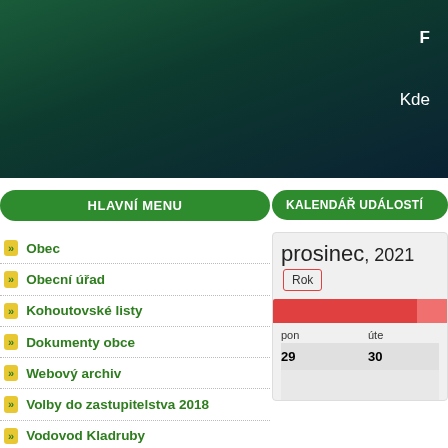[Figure (photo): Dark green/teal hero banner image at top of page]
F
Kde
HLAVNÍ MENU
KALENDÁŘ UDÁLOSTÍ
Obec
Obecní úřad
Kohoutovské listy
Dokumenty obce
Webový archiv
Volby do zastupitelstva 2018
Vodovod Kladruby
KNIHOVNA
prosinec, 2021
Rok
| pon | úte |
| --- | --- |
| 29 | 30 |